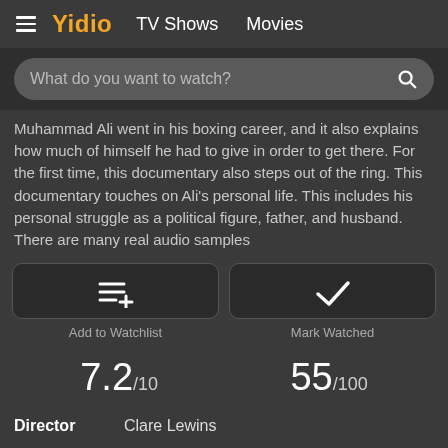Yidio  TV Shows  Movies
[Figure (screenshot): Search bar with placeholder text 'What do you want to watch?' and a search icon]
Muhammad Ali went in his boxing career, and it also explains how much of himself he had to give in order to get there. For the first time, this documentary also steps out of the ring. This documentary touches on Ali's personal life. This includes his personal struggle as a political figure, father, and husband. There are many real audio samples
[Figure (infographic): Add to Watchlist button with playlist-add icon]
[Figure (infographic): Mark Watched button with checkmark icon]
7.2/10   55/100
Director   Clare Lewins